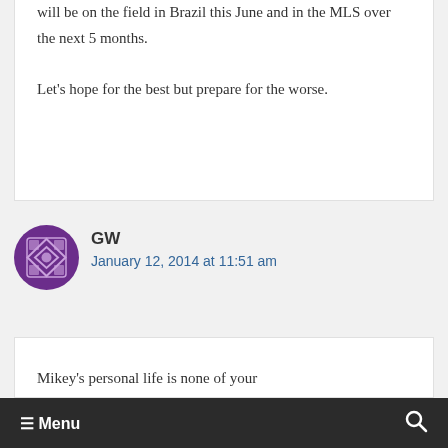will be on the field in Brazil this June and in the MLS over the next 5 months.
Let's hope for the best but prepare for the worse.
GW
January 12, 2014 at 11:51 am
Mikey's personal life is none of your
Menu